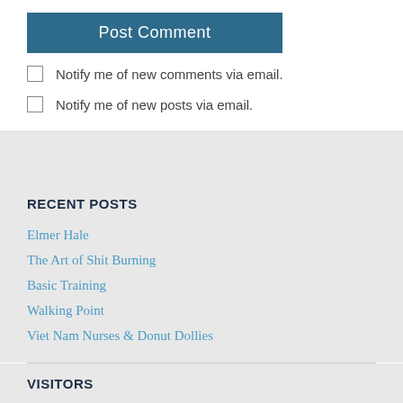Post Comment
Notify me of new comments via email.
Notify me of new posts via email.
RECENT POSTS
Elmer Hale
The Art of Shit Burning
Basic Training
Walking Point
Viet Nam Nurses & Donut Dollies
VISITORS
1,267,423 views